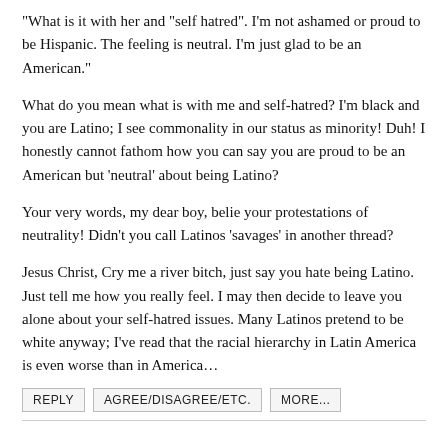"What is it with her and "self hatred". I'm not ashamed or proud to be Hispanic. The feeling is neutral. I'm just glad to be an American."
What do you mean what is with me and self-hatred? I'm black and you are Latino; I see commonality in our status as minority! Duh! I honestly cannot fathom how you can say you are proud to be an American but 'neutral' about being Latino?
Your very words, my dear boy, belie your protestations of neutrality! Didn't you call Latinos 'savages' in another thread?
Jesus Christ, Cry me a river bitch, just say you hate being Latino. Just tell me how you really feel. I may then decide to leave you alone about your self-hatred issues. Many Latinos pretend to be white anyway; I've read that the racial hierarchy in Latin America is even worse than in America…
REPLY
AGREE/DISAGREE/ETC.
MORE...